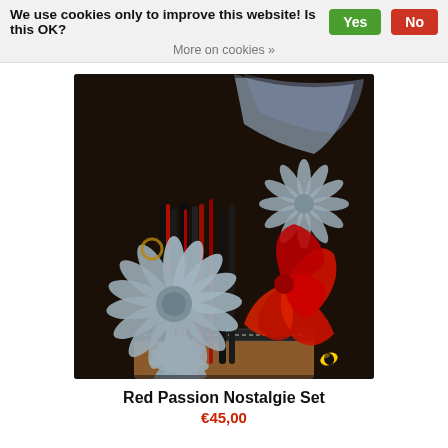We use cookies only to improve this website! Is this OK?  Yes  No
More on cookies »
[Figure (photo): Close-up photo of a decorative hair set called 'Red Passion Nostalgie Set', featuring large grey artificial daisy flowers, red leather flower, black and red dreadlock-style hair extensions, and a beaded black hat base.]
Red Passion Nostalgie Set
€45,00